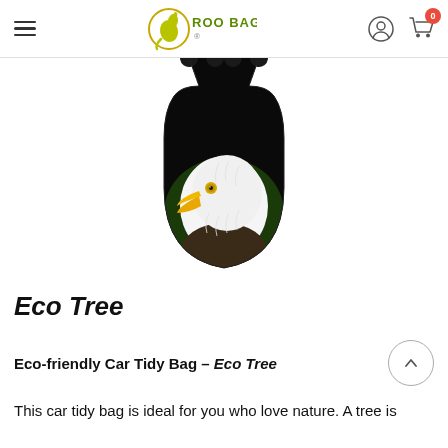Roo Bags – navigation header with hamburger menu, logo, account icon, and cart icon with badge 0
[Figure (photo): Product photo: black eco-friendly car tidy bag shaped with two handle loops at top, featuring a printed image of a bald eagle head with white feathers and yellow beak on a dark background]
Eco Tree
Eco-friendly Car Tidy Bag – Eco Tree
This car tidy bag is ideal for you who love nature. A tree is